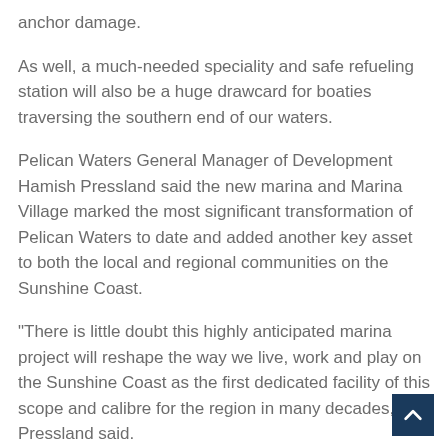anchor damage.
As well, a much-needed speciality and safe refueling station will also be a huge drawcard for boaties traversing the southern end of our waters.
Pelican Waters General Manager of Development Hamish Pressland said the new marina and Marina Village marked the most significant transformation of Pelican Waters to date and added another key asset to both the local and regional communities on the Sunshine Coast.
“There is little doubt this highly anticipated marina project will reshape the way we live, work and play on the Sunshine Coast as the first dedicated facility of this scope and calibre for the region in many decades,’’ Mr Pressland said.
Site work on the marina component has started with the facility expected to open in late 2022.